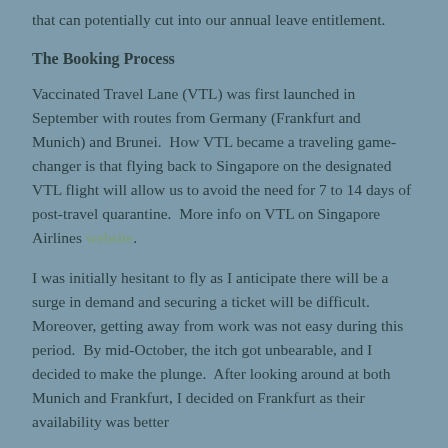that can potentially cut into our annual leave entitlement.
The Booking Process
Vaccinated Travel Lane (VTL) was first launched in September with routes from Germany (Frankfurt and Munich) and Brunei.  How VTL became a traveling game-changer is that flying back to Singapore on the designated VTL flight will allow us to avoid the need for 7 to 14 days of post-travel quarantine.  More info on VTL on Singapore Airlines website.
I was initially hesitant to fly as I anticipate there will be a surge in demand and securing a ticket will be difficult.  Moreover, getting away from work was not easy during this period.  By mid-October, the itch got unbearable, and I decided to make the plunge.  After looking around at both Munich and Frankfurt, I decided on Frankfurt as their availability was better